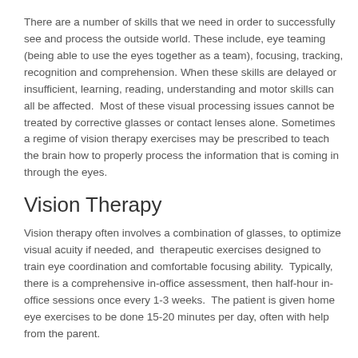There are a number of skills that we need in order to successfully see and process the outside world. These include, eye teaming (being able to use the eyes together as a team), focusing, tracking, recognition and comprehension. When these skills are delayed or insufficient, learning, reading, understanding and motor skills can all be affected.  Most of these visual processing issues cannot be treated by corrective glasses or contact lenses alone. Sometimes a regime of vision therapy exercises may be prescribed to teach the brain how to properly process the information that is coming in through the eyes.
Vision Therapy
Vision therapy often involves a combination of glasses, to optimize visual acuity if needed, and  therapeutic exercises designed to train eye coordination and comfortable focusing ability.  Typically, there is a comprehensive in-office assessment, then half-hour in-office sessions once every 1-3 weeks.  The patient is given home eye exercises to be done 15-20 minutes per day, often with help from the parent.